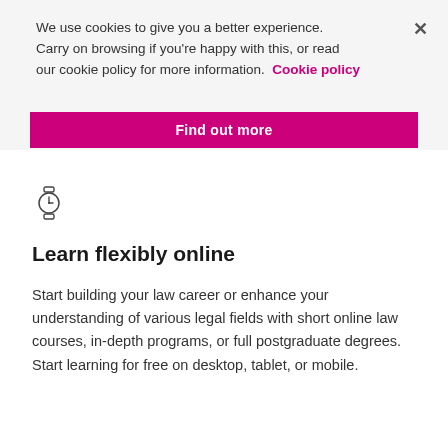We use cookies to give you a better experience. Carry on browsing if you're happy with this, or read our cookie policy for more information. Cookie policy
[Figure (other): Pink/magenta button labeled 'Find out more']
[Figure (illustration): Watch/clock icon (outline style)]
Learn flexibly online
Start building your law career or enhance your understanding of various legal fields with short online law courses, in-depth programs, or full postgraduate degrees. Start learning for free on desktop, tablet, or mobile.